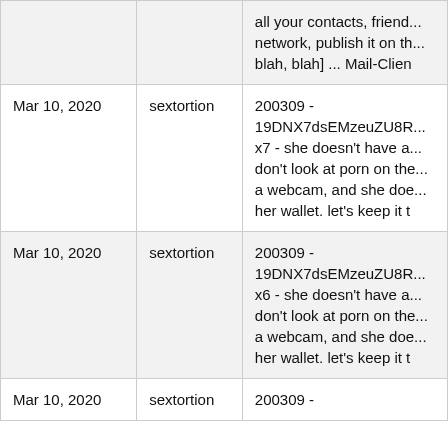| Date | Type | Description |
| --- | --- | --- |
|  |  | all your contacts, friend... network, publish it on th... blah, blah] ... Mail-Clien |
| Mar 10, 2020 | sextortion | 200309 - 19DNX7dsEMzeuZU8R... x7 - she doesn't have a... don't look at porn on the... a webcam, and she doe... her wallet. let's keep it t |
| Mar 10, 2020 | sextortion | 200309 - 19DNX7dsEMzeuZU8R... x6 - she doesn't have a... don't look at porn on the... a webcam, and she doe... her wallet. let's keep it t |
| Mar 10, 2020 | sextortion | 200309 - |